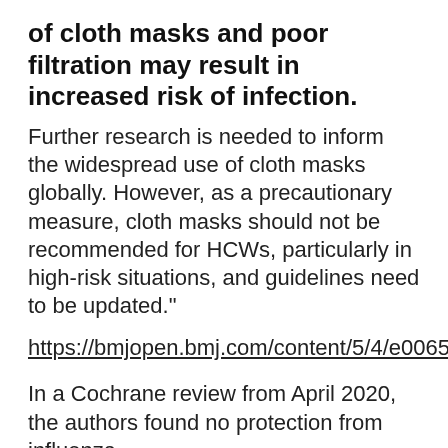of cloth masks and poor filtration may result in increased risk of infection.
Further research is needed to inform the widespread use of cloth masks globally. However, as a precautionary measure, cloth masks should not be recommended for HCWs, particularly in high-risk situations, and guidelines need to be updated."
https://bmjopen.bmj.com/content/5/4/e006577
In a Cochrane review from April 2020, the authors found no protection from influenza-